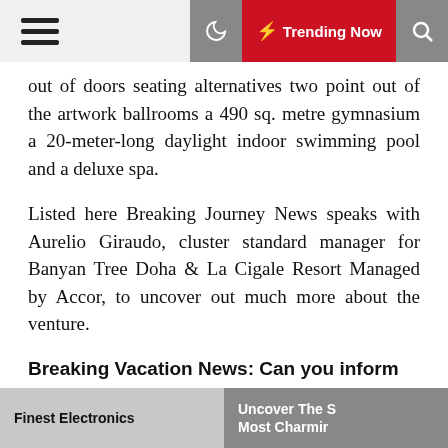Trending Now
out of doors seating alternatives two point out of the artwork ballrooms a 490 sq. metre gymnasium a 20-meter-long daylight indoor swimming pool and a deluxe spa.
Listed here Breaking Journey News speaks with Aurelio Giraudo, cluster standard manager for Banyan Tree Doha & La Cigale Resort Managed by Accor, to uncover out much more about the venture.
Breaking Vacation News: Can you inform us a tiny about the upcoming opening of Banyan Tree Doha?
Aurelio Giraudo: Banyan Tree Doha will be 1-end destination comprised of luxurious hotel, lavish residences, good dining restaurants, prestigious French manner division retailer Printemps, reducing-edge Vox
Finest Electronics | Uncover The Most Charmin